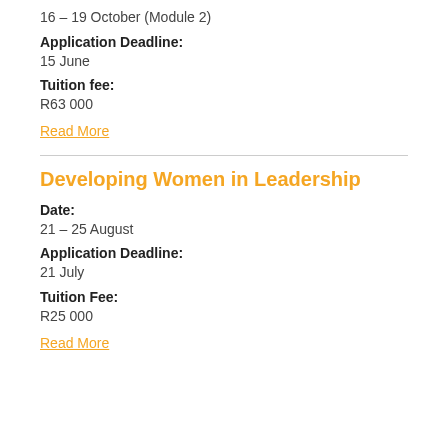16 – 19 October (Module 2)
Application Deadline:
15 June
Tuition fee:
R63 000
Read More
Developing Women in Leadership
Date:
21 – 25 August
Application Deadline:
21 July
Tuition Fee:
R25 000
Read More